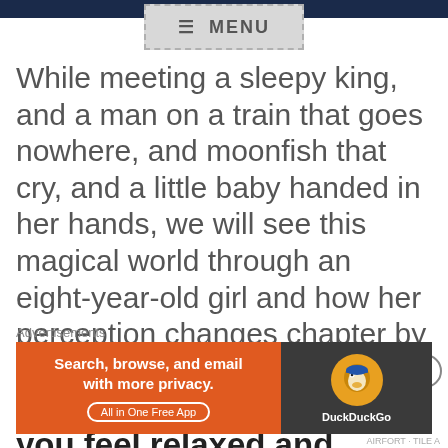[Figure (screenshot): Top navigation bar with dark blue image strip and a dashed-border MENU button overlay in gray]
While meeting a sleepy king, and a man on a train that goes nowhere, and moonfish that cry, and a little baby handed in her hands, we will see this magical world through an eight-year-old girl and how her perception changes chapter by chapter.
This is one of the books that will make you feel relaxed and deeply
Advertisements
[Figure (screenshot): DuckDuckGo advertisement banner: orange left section with text 'Search, browse, and email with more privacy. All in One Free App' and dark right section with DuckDuckGo duck logo and brand name]